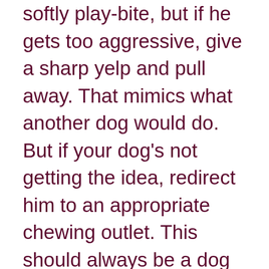softly play-bite, but if he gets too aggressive, give a sharp yelp and pull away. That mimics what another dog would do. But if your dog's not getting the idea, redirect him to an appropriate chewing outlet. This should always be a dog toy, not a household item. Make sure the toys are big enough that they can bite them without biting you. And consider